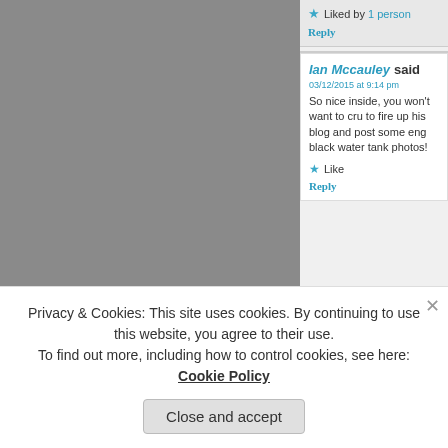Liked by 1 person
Reply
7. Ian Mccauley said
03/12/2015 at 9:14 pm
So nice inside, you won't want to cru to fire up his blog and post some eng black water tank photos!
Like
Reply
Contentedsouls sa
Privacy & Cookies: This site uses cookies. By continuing to use this website, you agree to their use. To find out more, including how to control cookies, see here: Cookie Policy
Close and accept